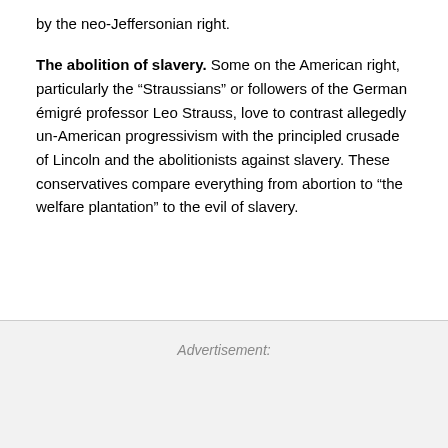by the neo-Jeffersonian right.
The abolition of slavery. Some on the American right, particularly the “Straussians” or followers of the German émigré professor Leo Strauss, love to contrast allegedly un-American progressivism with the principled crusade of Lincoln and the abolitionists against slavery. These conservatives compare everything from abortion to “the welfare plantation” to the evil of slavery.
Advertisement: